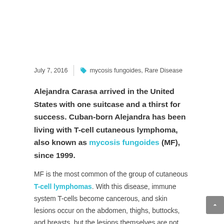July 7, 2016 | 🏷 mycosis fungoides, Rare Disease
Alejandra Carasa arrived in the United States with one suitcase and a thirst for success. Cuban-born Alejandra has been living with T-cell cutaneous lymphoma, also known as mycosis fungoides (MF), since 1999.
MF is the most common of the group of cutaneous T-cell lymphomas. With this disease, immune system T-cells become cancerous, and skin lesions occur on the abdomen, thighs, buttocks, and breasts, but the lesions themselves are not cancerous. The disease usually progresses slowly.